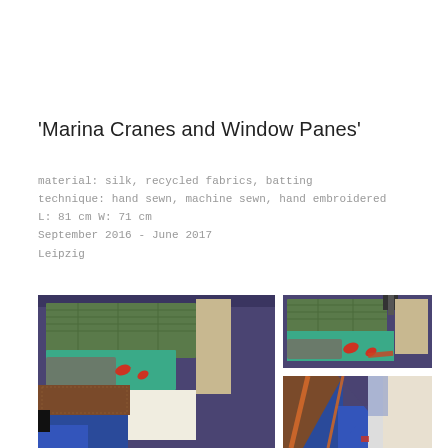'Marina Cranes and Window Panes'
material: silk, recycled fabrics, batting
technique: hand sewn, machine sewn, hand embroidered
L: 81 cm W: 71 cm
September 2016 - June 2017
Leipzig
[Figure (photo): Large photo of a textile artwork 'Marina Cranes and Window Panes' showing quilted fabric with teal, green, orange, blue, and gray patches representing cranes and window panes]
[Figure (photo): Top-right detail photo of the same textile artwork showing upper portion with green quilted fabric and teal appliqués]
[Figure (photo): Bottom-right detail photo of the same textile artwork showing lower portion with blue, orange, and patterned fabric sections]